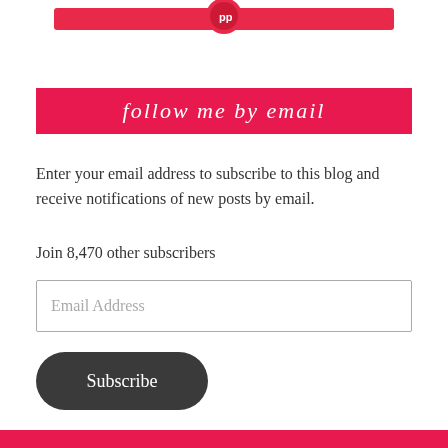[Figure (other): Red banner/button at top of page with circular icon]
follow me by email
Enter your email address to subscribe to this blog and receive notifications of new posts by email.
Join 8,470 other subscribers
Email Address
Subscribe
[Figure (other): Pink/red decorative banner at bottom of page]